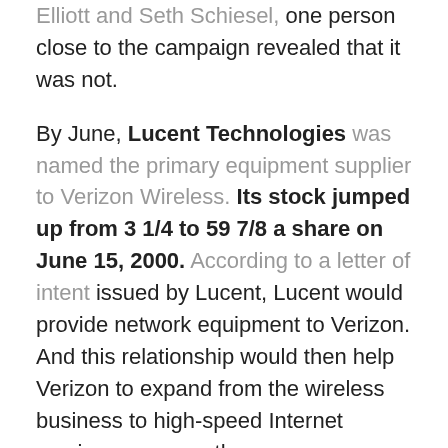Elliott and Seth Schiesel, one person close to the campaign revealed that it was not.
By June, Lucent Technologies was named the primary equipment supplier to Verizon Wireless. Its stock jumped up from 3 1/4 to 59 7/8 a share on June 15, 2000. According to a letter of intent issued by Lucent, Lucent would provide network equipment to Verizon. And this relationship would then help Verizon to expand from the wireless business to high-speed Internet services, among other telecommunications possibilities. Verizon hoped that the Internet access might be one way to encourage customers to use their phones more frequently.
Two days later, on June 17, 2000, the FCC approved the Bell Atlantic-GTE merger, with the proviso that GTE would agree to spin off its Internet backbone